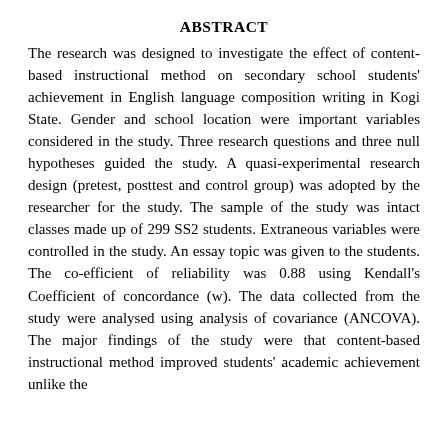ABSTRACT
The research was designed to investigate the effect of content-based instructional method on secondary school students' achievement in English language composition writing in Kogi State. Gender and school location were important variables considered in the study. Three research questions and three null hypotheses guided the study. A quasi-experimental research design (pretest, posttest and control group) was adopted by the researcher for the study. The sample of the study was intact classes made up of 299 SS2 students. Extraneous variables were controlled in the study. An essay topic was given to the students. The co-efficient of reliability was 0.88 using Kendall's Coefficient of concordance (w). The data collected from the study were analysed using analysis of covariance (ANCOVA). The major findings of the study were that content-based instructional method improved students' academic achievement unlike the